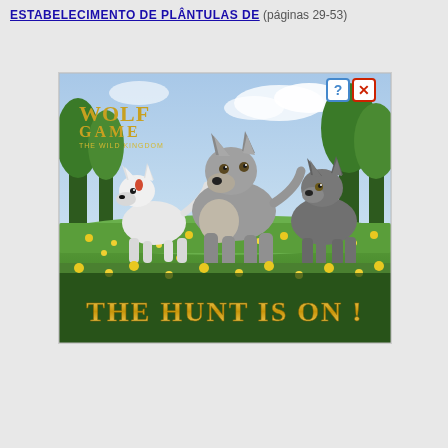ESTABELECIMENTO DE PLÂNTULAS DE (páginas 29-53)
[Figure (illustration): Advertisement for Wolf Game: The Wild Kingdom mobile game showing three wolves (one white, one grey large center wolf, one dark grey) running through a field of yellow flowers with trees in background. Text 'THE HUNT IS ON !' in gold at bottom. 'WOLF GAME THE WILD KINGDOM' logo in gold at top left. Small help (?) and close (X) icons in blue/red at top right corner.]